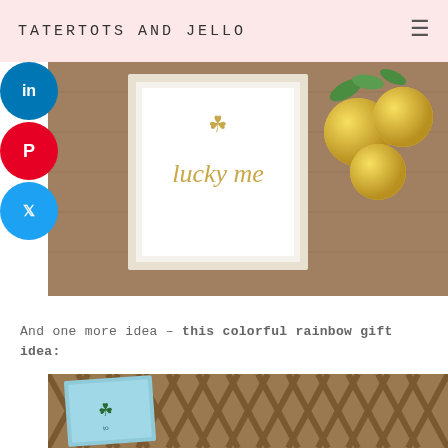TATERTOTS AND JELLO
[Figure (photo): Photo of a white framed print reading 'lucky me' in gold script with a gold shamrock, accompanied by gold chocolate coins and green leaves, placed on a wooden surface]
And one more idea – this colorful rainbow gift idea:
[Figure (photo): Bottom portion of a photo showing a teal/blue card with a green shamrock on a wooden lattice surface]